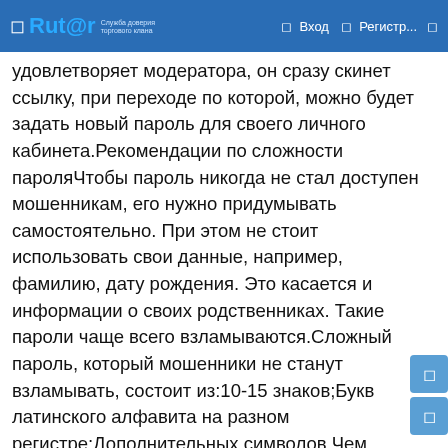Rutor | Вход | Регистр...
удовлетворяет модератора, он сразу скинет ссылку, при переходе по которой, можно будет задать новый пароль для своего личного кабинета.Рекомендации по сложности пароляЧтобы пароль никогда не стал доступен мошенникам, его нужно придумывать самостоятельно. При этом не стоит использовать свои данные, например, фамилию, дату рождения. Это касается и информации о своих родственниках. Такие пароли чаще всего взламываются.Сложный пароль, который мошенники не станут взламывать, состоит из:10-15 знаков;Букв латинского алфавита на разном регистре;Дополнительных символов.Чем сложнее комбинация, тем лучше. Готовый пароль от Гидры лучше выписать, так как ПК может сломаться или будет атакован вирусами, а с бумажным носителем ничего такого не произойдет, главное его не потерять.Создание нового профиля на ГидреЕсли не предоставить модератору данные для восстановления пароля, то не получится вернуть его. В таких ситуациях сотрудник сайта может даже окончательно заблокировать такой профиль, чтобы предотвратить атаки мошенников